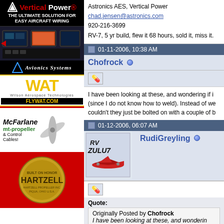[Figure (advertisement): Vertical Power advertisement - black background with logo, tagline 'THE ULTIMATE SOLUTION FOR EASY AIRCRAFT WIRING', cockpit image, Avionics Systems branding]
[Figure (advertisement): WAT/FLYWAT.COM advertisement with yellow WAT logo]
[Figure (advertisement): McFarlane mt-propeller and Control Cables advertisement]
[Figure (advertisement): Hartzell propellers advertisement with circular logo on red background]
Astronics AES, Vertical Power
chad.jensen@astronics.com
920-216-3699
RV-7, 5 yr build, flew it 68 hours, sold it, miss it.
01-11-2006, 10:38 AM
Chofrock
I have been looking at these, and wondering if i (since I do not know how to weld). Instead of we couldn't they just be bolted on with a couple of b
01-12-2006, 06:07 AM
[Figure (illustration): RV Zulu7 aircraft avatar image showing a small red airplane]
RudiGreyling
Quote:
Originally Posted by Chofrock
I have been looking at these, and wonderin